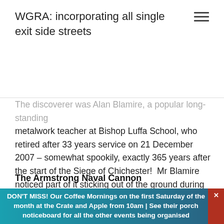WGRA: incorporating all single exit side streets
The discoverer was Alan Blamire, a popular long-standing metalwork teacher at Bishop Luffa School, who retired after 33 years service on 21 December 2007 – somewhat spookily, exactly 365 years after the start of the Siege of Chichester!  Mr Blamire noticed part of it sticking out of the ground during the demolition of the old brewery buildings in the mid-1980s. He persuaded the developers to excavate it and put it on a wooden mount outside the entrance to the new offices; where it has stood ever since.
The Armstrong Naval Cannon
At the time several people, perhaps Mr Blamire himself,
DON'T MISS! Our Coffee Mornings on the first Saturday of the month at the Crate and Apple from 10am | See their porch noticeboard for all the other events being organised